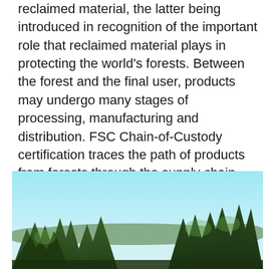reclaimed material, the latter being introduced in recognition of the important role that reclaimed material plays in protecting the world's forests. Between the forest and the final user, products may undergo many stages of processing, manufacturing and distribution. FSC Chain-of-Custody certification traces the path of products from forests through the supply chain, verifying that FSC-certified material is identified or kept separated from non-certified material throughout the chain.
[Figure (photo): A forest landscape photo showing green coniferous trees against a light blue sky. Trees fill the lower portion of the image, with the sky gradient from light blue at top to slightly warmer tones.]